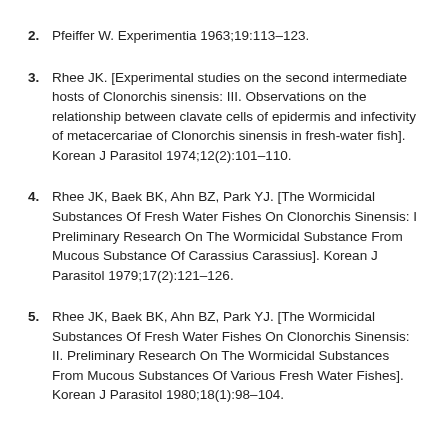2. Pfeiffer W. Experimentia 1963;19:113–123.
3. Rhee JK. [Experimental studies on the second intermediate hosts of Clonorchis sinensis: III. Observations on the relationship between clavate cells of epidermis and infectivity of metacercariae of Clonorchis sinensis in fresh-water fish]. Korean J Parasitol 1974;12(2):101–110.
4. Rhee JK, Baek BK, Ahn BZ, Park YJ. [The Wormicidal Substances Of Fresh Water Fishes On Clonorchis Sinensis: I Preliminary Research On The Wormicidal Substance From Mucous Substance Of Carassius Carassius]. Korean J Parasitol 1979;17(2):121–126.
5. Rhee JK, Baek BK, Ahn BZ, Park YJ. [The Wormicidal Substances Of Fresh Water Fishes On Clonorchis Sinensis: II. Preliminary Research On The Wormicidal Substances From Mucous Substances Of Various Fresh Water Fishes]. Korean J Parasitol 1980;18(1):98–104.